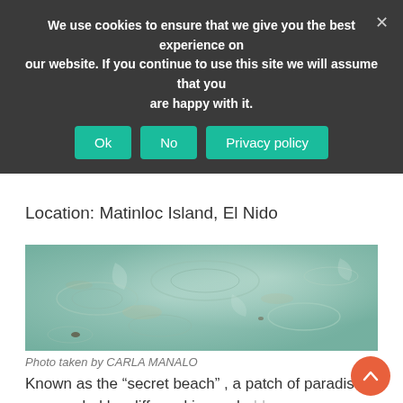We use cookies to ensure that we give you the best experience on our website. If you continue to use this site we will assume that you are happy with it.
Ok | No | Privacy policy
[Figure (photo): Shallow clear turquoise water over sandy seabed with rippling light patterns, aerial or underwater view of a tropical beach.]
Photo taken by CARLA MANALO
Location: Matinloc Island, El Nido
Known as the “secret beach” , a patch of paradise surrounded by cliffs and is reachable only by passing through a narrow crevice Once you swim past through the narrow opening